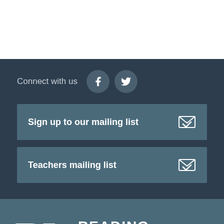[Figure (other): White top area (blank space above the footer section)]
Connect with us
[Figure (logo): Facebook and Twitter social media icon buttons (circular dark grey icons with white F and bird symbols)]
Sign up to our mailing list
Teachers mailing list
[Figure (logo): Reading Museum logo with large RM letters and READING MUSEUM text in white on teal-blue background]